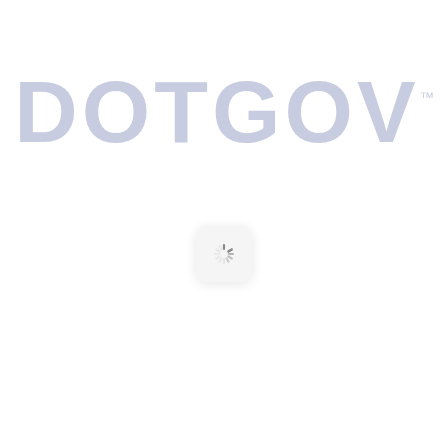[Figure (logo): DOTGOV trademark logo in large light blue-grey letters with TM superscript]
[Figure (other): Loading spinner icon — a circular spinner graphic inside a white rounded-rectangle box with soft shadow, centered on the page]